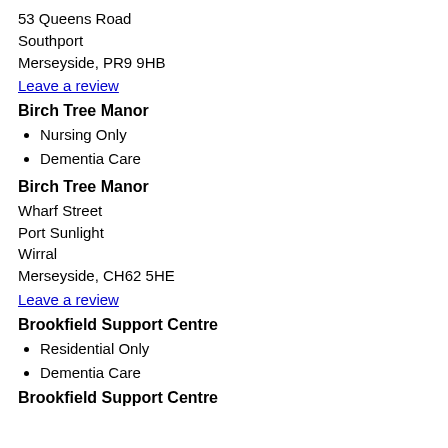53 Queens Road
Southport
Merseyside, PR9 9HB
Leave a review
Birch Tree Manor
Nursing Only
Dementia Care
Birch Tree Manor
Wharf Street
Port Sunlight
Wirral
Merseyside, CH62 5HE
Leave a review
Brookfield Support Centre
Residential Only
Dementia Care
Brookfield Support Centre